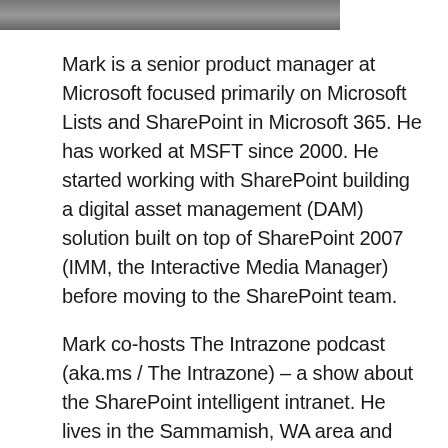[Figure (photo): Partial view of a person's photo at the top of the page (cropped)]
Mark is a senior product manager at Microsoft focused primarily on Microsoft Lists and SharePoint in Microsoft 365. He has worked at MSFT since 2000. He started working with SharePoint building a digital asset management (DAM) solution built on top of SharePoint 2007 (IMM, the Interactive Media Manager) before moving to the SharePoint team.
Mark co-hosts The Intrazone podcast (aka.ms / The Intrazone) – a show about the SharePoint intelligent intranet. He lives in the Sammamish, WA area and enjoys